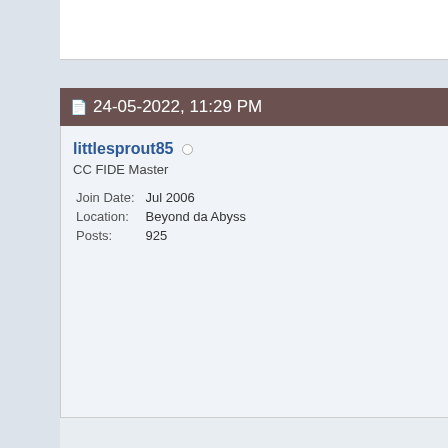24-05-2022, 11:29 PM
littlesprout85
CC FIDE Master
Join Date: Jul 2006
Location: Beyond da Abyss
Posts: 925
Another good reason why Sprouty dat Ems lives in da Arizona Desert months outta da year stays above hrs n its hard to shop for chilled g on da Ride home during da day wh from 100-122 f. here in Arizona.....
Corona19 Virus has Halted this ni Sprout for Big Biz has changed its life n locks da doors tight at night. Corona19, using da virus as an ex hours is for proper daily cleaning o fact they are doing da nightly clos along with cutting labor cost. Vam masked up come out in da night to box stores especially in Arizona....
-Sprout85